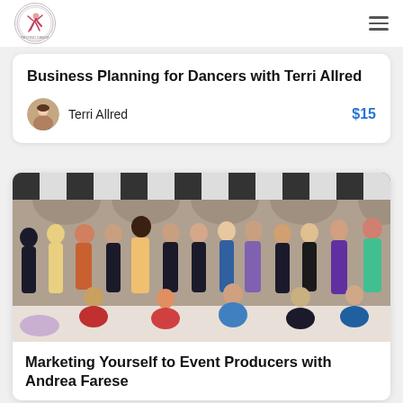[Figure (logo): Beyond Dance Business Academy circular logo]
Business Planning for Dancers with Terri Allred
Terri Allred   $15
[Figure (photo): Group photo of belly dancers and performers in colorful costumes on a decorated stage]
Marketing Yourself to Event Producers with Andrea Farese